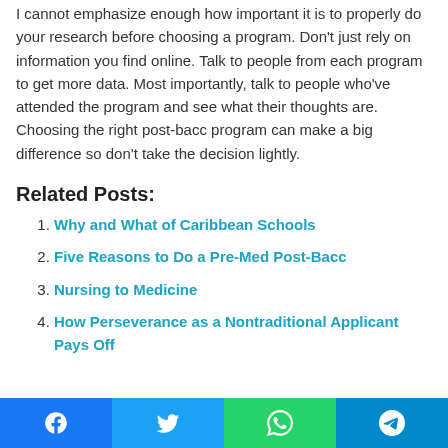I cannot emphasize enough how important it is to properly do your research before choosing a program. Don't just rely on information you find online. Talk to people from each program to get more data. Most importantly, talk to people who've attended the program and see what their thoughts are. Choosing the right post-bacc program can make a big difference so don't take the decision lightly.
Related Posts:
Why and What of Caribbean Schools
Five Reasons to Do a Pre-Med Post-Bacc
Nursing to Medicine
How Perseverance as a Nontraditional Applicant Pays Off
Social share bar: Facebook, Twitter, WhatsApp, Telegram